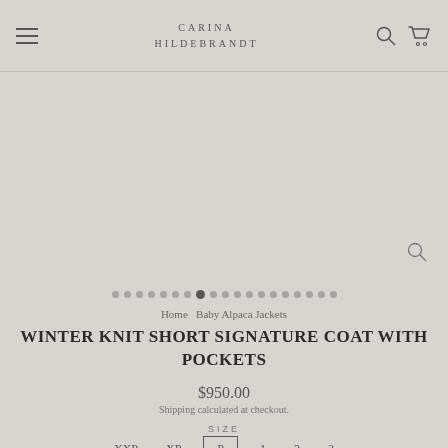CARINA HILDEBRANDT
[Figure (other): Product image area with zoom icon and dot navigation indicators]
Home  Baby Alpaca Jackets
WINTER KNIT SHORT SIGNATURE COAT WITH POCKETS
$950.00
Shipping calculated at checkout.
SIZE
XXP  XP  P  1  2  3
COLOR —
[Figure (other): Color swatches: olive/grey, black, dark brown/maroon, crimson, purple, slate, mauve/purple, teal, lavender, dark red, and partial second row]